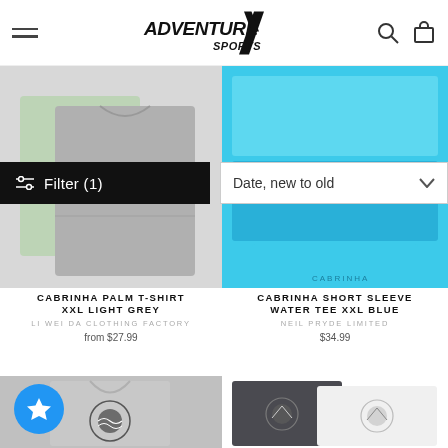Adventure Sports — navigation header with hamburger menu, logo, search and cart icons
Filter (1)
Date, new to old
[Figure (photo): Cabrinha Palm T-Shirt XXL Light Grey product photo showing folded grey and light green shirts]
CABRINHA PALM T-SHIRT XXL LIGHT GREY
LI WEI DA CLOTHING FACTORY
from $27.99
[Figure (photo): Cabrinha Short Sleeve Water Tee XXL Blue product photo showing folded blue towel/shirt]
CABRINHA SHORT SLEEVE WATER TEE XXL BLUE
NEIL PRYDE LIMITED
$34.99
[Figure (photo): Bottom left product - grey sleeveless shirt with circular wave graphic]
[Figure (photo): Bottom right product - dark grey and white t-shirts with circular mountain/landscape graphic]